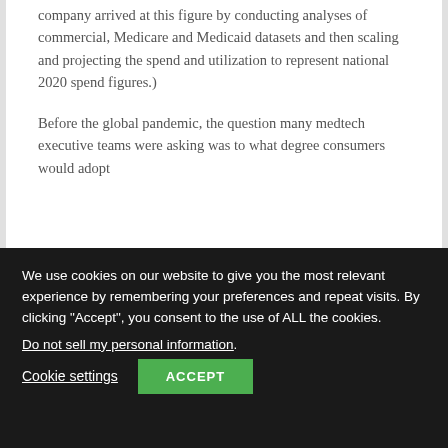company arrived at this figure by conducting analyses of commercial, Medicare and Medicaid datasets and then scaling and projecting the spend and utilization to represent national 2020 spend figures.)
Before the global pandemic, the question many medtech executive teams were asking was to what degree consumers would adopt
We use cookies on our website to give you the most relevant experience by remembering your preferences and repeat visits. By clicking "Accept", you consent to the use of ALL the cookies.
Do not sell my personal information.
Cookie settings
ACCEPT